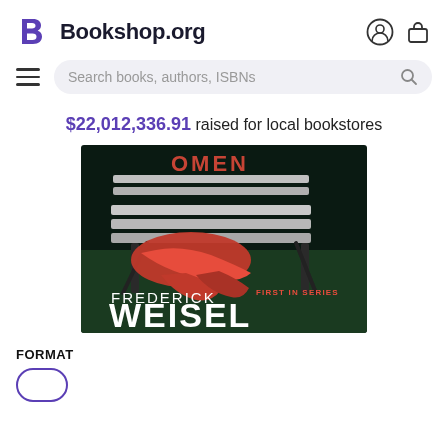Bookshop.org
$22,012,336.91 raised for local bookstores
[Figure (photo): Book cover for a Frederick Weisel novel — 'First in Series'. Shows a person in a red outfit lying on green grass beside a dark park bench, with text at bottom reading FREDERICK WEISEL and FIRST IN SERIES.]
FORMAT